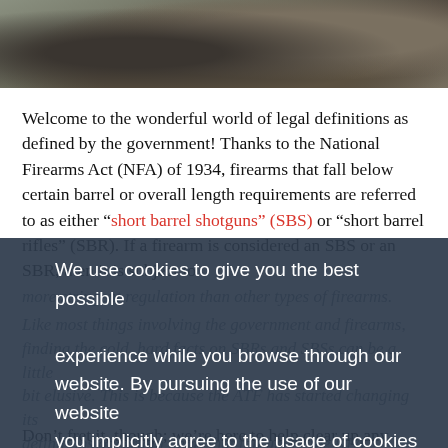[Figure (photo): Photograph of rocks/stones in outdoor setting, partially cropped at top]
Welcome to the wonderful world of legal definitions as defined by the government! Thanks to the National Firearms Act (NFA) of 1934, firearms that fall below certain barrel or overall length requirements are referred to as either “short barrel shotguns” (SBS) or “short barrel rifles” (SBR). If a firearm is considered an SBS or an SBR, then it is subject to more stringent regulation than other types of firearms.
We use cookies to give you the best possible experience while you browse through our website. By pursuing the use of our website you implicitly agree to the usage of cookies on this site.
Got it!
Like most things involving the government and firearms, finding the cold, hard facts on SBRs and SBSs can be a little bit elusive. This is because the ATF has started changing its definitions of certain items that fall under the NFA purview.
Don't fret it, though; we're here to help clear up any